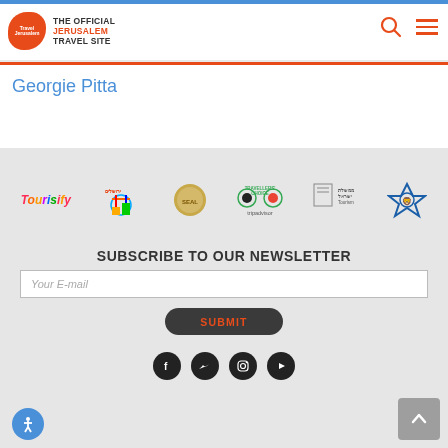THE OFFICIAL JERUSALEM TRAVEL SITE
Georgie Pitta
[Figure (infographic): Partner logos row: Tourisify, Jerusalem events logo, a circular gold seal, TripAdvisor Travelers Choice, Israeli government tourism logo, Star of David lion emblem]
SUBSCRIBE TO OUR NEWSLETTER
Your E-mail
SUBMIT
[Figure (infographic): Social media icons: Facebook, Twitter, Instagram, YouTube]
[Figure (infographic): Accessibility button (blue circle with person icon) and back-to-top button (grey square with up arrow)]